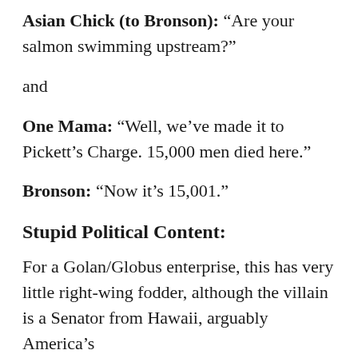Asian Chick (to Bronson): “Are your salmon swimming upstream?”
and
One Mama: “Well, we’ve made it to Pickett’s Charge. 15,000 men died here.”
Bronson: “Now it’s 15,001.”
Stupid Political Content:
For a Golan/Globus enterprise, this has very little right-wing fodder, although the villain is a Senator from Hawaii, arguably America’s